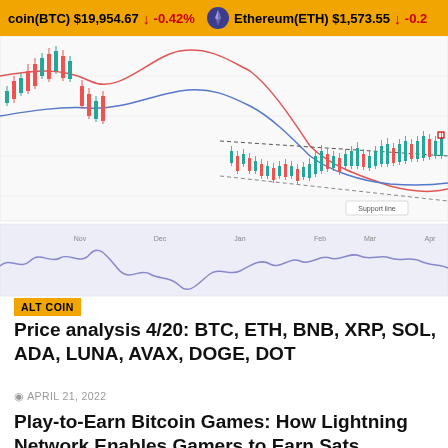coin(BTC) $19,954.67 ↓ -0.42%   Ethereum(ETH) $1,573.55 ↓ -0.2
[Figure (continuous-plot): Cryptocurrency price chart with candlestick chart on top showing BTC price with moving average lines (blue and red), support line labeled, and an oscillator/indicator below (lavender area with blue line). X-axis shows date labels. Chart shows downward trend followed by consolidation.]
ALT COIN
Price analysis 4/20: BTC, ETH, BNB, XRP, SOL, ADA, LUNA, AVAX, DOGE, DOT
APRIL 21, 2022
Play-to-Earn Bitcoin Games: How Lightning Network Enables Gamers to Earn Sats
APRIL 20, 2022